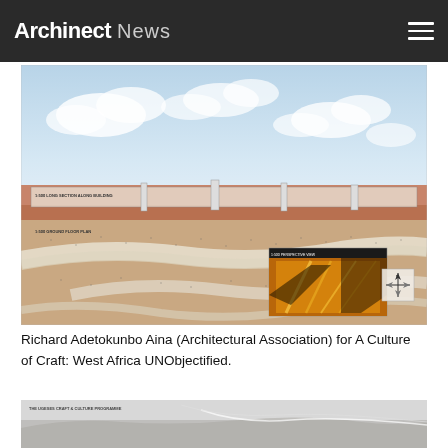Archinect News
[Figure (illustration): Architectural section and ground floor plan drawing showing an elongated building embedded in a landscape with sky above. Includes an inset photo of golden/orange interior detail and a compass rose. Label reads '1:500 LONG SECTION ALONG BUILDING' and '1:500 GROUND FLOOR PLAN'.]
Richard Adetokunbo Aina (Architectural Association) for A Culture of Craft: West Africa UNObjectified.
[Figure (illustration): Partial view of a second architectural drawing showing a landscape/aerial view with text 'THE UGESES CRAFT & CULTURE PROGRAMME' at the top.]